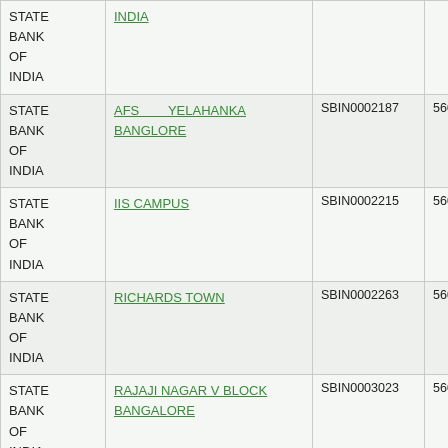| Bank | Branch | IFSC | MICR |
| --- | --- | --- | --- |
| STATE BANK OF INDIA | INDIA |  |  |
| STATE BANK OF INDIA | AFS YELAHANKA BANGLORE | SBIN0002187 | 560002010 |
| STATE BANK OF INDIA | IIS CAMPUS | SBIN0002215 | 560002020 |
| STATE BANK OF INDIA | RICHARDS TOWN | SBIN0002263 | 560002040 |
| STATE BANK OF INDIA | RAJAJI NAGAR V BLOCK BANGALORE | SBIN0003023 | 560002041 |